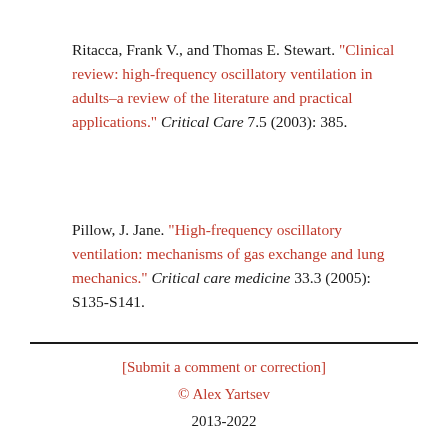Ritacca, Frank V., and Thomas E. Stewart. "Clinical review: high-frequency oscillatory ventilation in adults–a review of the literature and practical applications." Critical Care 7.5 (2003): 385.
Pillow, J. Jane. "High-frequency oscillatory ventilation: mechanisms of gas exchange and lung mechanics." Critical care medicine 33.3 (2005): S135-S141.
[Submit a comment or correction]
© Alex Yartsev
2013-2022